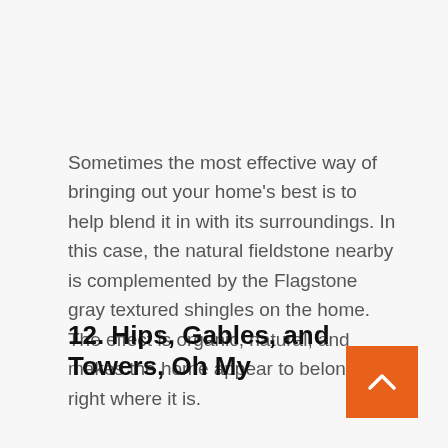Sometimes the most effective way of bringing out your home's best is to help blend it in with its surroundings. In this case, the natural fieldstone nearby is complemented by the Flagstone gray textured shingles on the home. The effect is organic, natural, and makes the home appear to belong right where it is.
12. Hips, Gables, and Towers, Oh My
[Figure (other): Orange square button with a white upward-pointing chevron arrow]